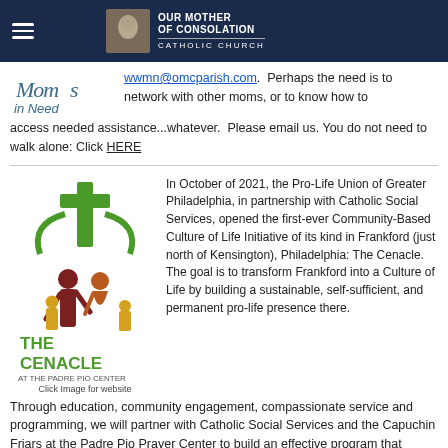Our Mother of Consolation Catholic Church
[Figure (logo): Moms in Need cursive logo]
wwmn@omcparish.com.  Perhaps the need is to network with other moms, or to know how to access needed assistance...whatever.  Please email us. You do not need to walk alone: Click HERE
[Figure (logo): The Cenacle at the Padre Pio Center logo with green cross and family figures]
In October of 2021, the Pro-Life Union of Greater Philadelphia, in partnership with Catholic Social Services, opened the first-ever Community-Based Culture of Life Initiative of its kind in Frankford (just north of Kensington), Philadelphia: The Cenacle. The goal is to transform Frankford into a Culture of Life by building a sustainable, self-sufficient, and permanent pro-life presence there.
Through education, community engagement, compassionate service and programming, we will partner with Catholic Social Services and the Capuchin Friars at the Padre Pio Prayer Center to build an effective program that minimizes abortion-risk in the area. The Cenacle family life center  has been growing so fast and is now serving over 150 mom's and their children!